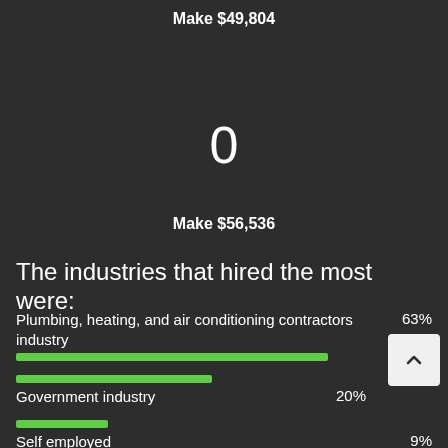Make $49,804
0
Make $56,536
The industries that hired the most were:
[Figure (bar-chart): Industries that hired the most]